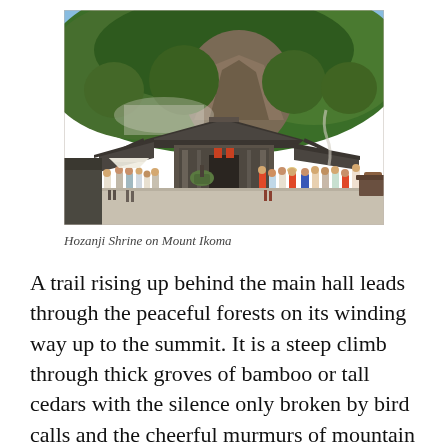[Figure (photo): Photograph of Hozanji Shrine on Mount Ikoma. Traditional Japanese temple buildings with dark tiled roofs in the foreground, crowds of visitors walking in the courtyard, a large rocky cliff and dense green forested hillside rising dramatically behind the shrine complex. Blue sky visible at top.]
Hozanji Shrine on Mount Ikoma
A trail rising up behind the main hall leads through the peaceful forests on its winding way up to the summit. It is a steep climb through thick groves of bamboo or tall cedars with the silence only broken by bird calls and the cheerful murmurs of mountain springs